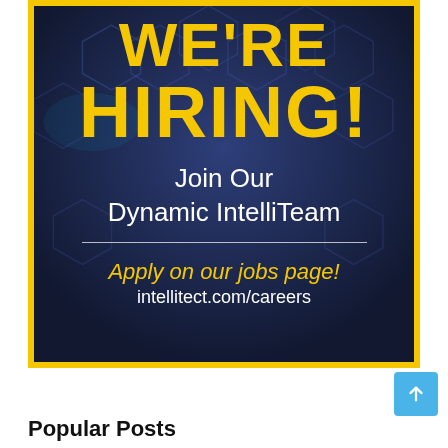[Figure (infographic): We're Hiring! recruitment banner with dark blue hexagonal background and yellow border. Text reads: WE'RE HIRING! Join Our Dynamic IntelliTeam. Apply on our jobs page! intellitect.com/careers]
Popular Posts